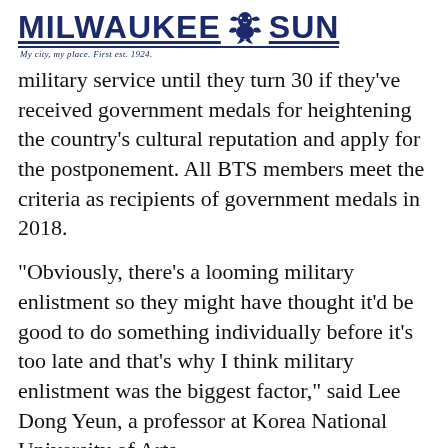MILWAUKEE SUN — My city, my place. First est. 1924.
military service until they turn 30 if they've received government medals for heightening the country's cultural reputation and apply for the postponement. All BTS members meet the criteria as recipients of government medals in 2018.
"Obviously, there's a looming military enlistment so they might have thought it'd be good to do something individually before it's too late and that's why I think military enlistment was the biggest factor," said Lee Dong Yeun, a professor at Korea National University of Arts.
There have been calls - including from South Korea's former culture minister - for an exemption for BTS because of their contribution to heightening South Korea's international reputation. But critics say that